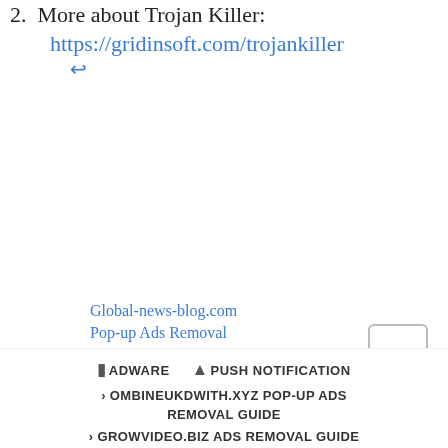2. More about Trojan Killer: https://gridinsoft.com/trojankiller ↵
Global-news-blog.com Pop-up Ads Removal
News-xoputo.cc Redirect Removal Guide
News-penuxu.cc Pop-up Ads Removal
ADWARE  PUSH NOTIFICATION  < OMBINEUKDWITH.XYZ POP-UP ADS REMOVAL GUIDE  > GROWVIDEO.BIZ ADS REMOVAL GUIDE